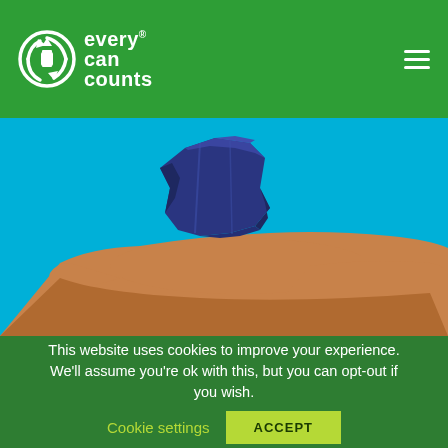every can counts
[Figure (photo): A hand holding a crushed dark blue aluminium can against a bright blue background. The can is crumpled and deformed. The hand belongs to a dark-skinned person and is shown from the wrist area extended flat palm-up.]
This website uses cookies to improve your experience. We'll assume you're ok with this, but you can opt-out if you wish.
Cookie settings
ACCEPT